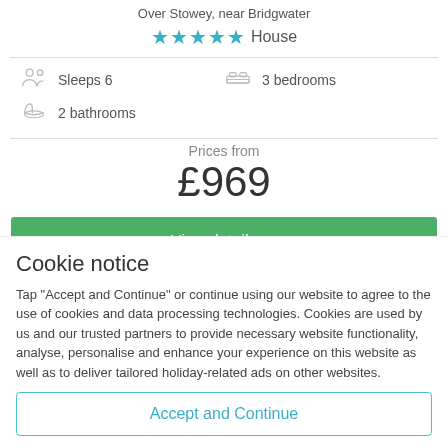Over Stowey, near Bridgwater
★★★★★ House
Sleeps 6    3 bedrooms    2 bathrooms
Prices from £969
View details
Cookie notice
Tap "Accept and Continue" or continue using our website to agree to the use of cookies and data processing technologies. Cookies are used by us and our trusted partners to provide necessary website functionality, analyse, personalise and enhance your experience on this website as well as to deliver tailored holiday-related ads on other websites.
Accept and Continue